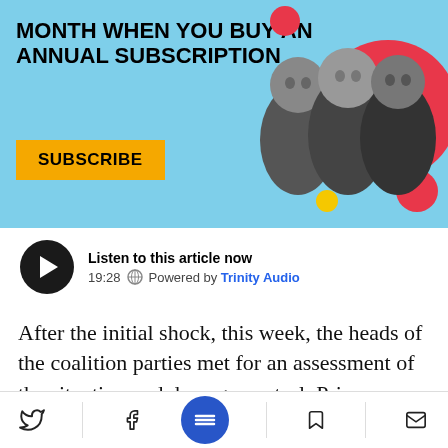[Figure (infographic): Blue banner advertisement with text 'MONTH WHEN YOU BUY AN ANNUAL SUBSCRIPTION', a yellow SUBSCRIBE button, decorative red/yellow circles, and a black-and-white photo of three men on the right side.]
[Figure (infographic): Audio player widget showing a dark circular play button, title 'Listen to this article now', duration '19:28', globe icon, and 'Powered by Trinity Audio' text.]
After the initial shock, this week, the heads of the coalition parties met for an assessment of the situation and damage control. Prime Minister Naftali Bennett pounced on the two weakest links in his dwindling Yamina caucus as though his life depended on it. Abir Kara,
[Figure (infographic): Bottom navigation bar with Twitter, Facebook, hamburger menu (blue circle), bookmark, and email icons.]